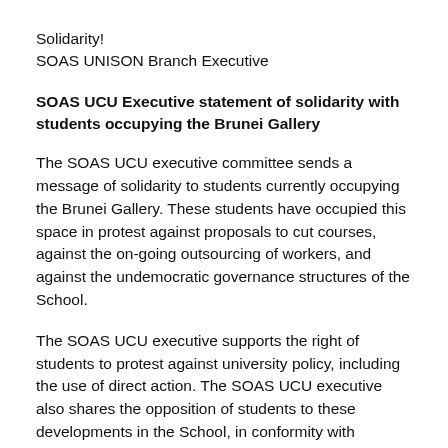Solidarity!
SOAS UNISON Branch Executive
SOAS UCU Executive statement of solidarity with students occupying the Brunei Gallery
The SOAS UCU executive committee sends a message of solidarity to students currently occupying the Brunei Gallery. These students have occupied this space in protest against proposals to cut courses, against the on-going outsourcing of workers, and against the undemocratic governance structures of the School.
The SOAS UCU executive supports the right of students to protest against university policy, including the use of direct action. The SOAS UCU executive also shares the opposition of students to these developments in the School, in conformity with motions already endorsed by